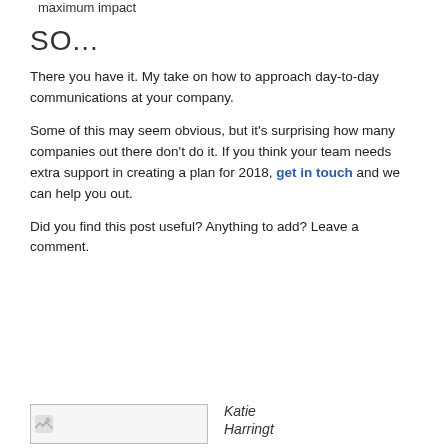maximum impact
SO...
There you have it. My take on how to approach day-to-day communications at your company.
Some of this may seem obvious, but it's surprising how many companies out there don't do it. If you think your team needs extra support in creating a plan for 2018, get in touch and we can help you out.
Did you find this post useful? Anything to add? Leave a comment.
[Figure (photo): Author image placeholder box]
Katie Harringt